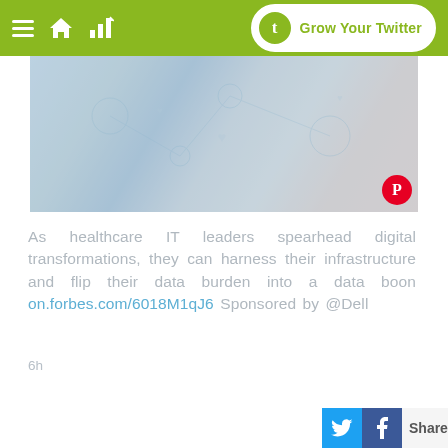Grow Your Twitter
[Figure (photo): Healthcare digital transformation technology concept image showing hands interacting with digital icons and network overlays on a tablet device, with blue and grey tones.]
As healthcare IT leaders spearhead digital transformations, they can harness their infrastructure and flip their data burden into a data boon on.forbes.com/6018M1qJ6 Sponsored by @Dell
6h
[Figure (infographic): Share bar with Twitter and Facebook icons and Share label at bottom right.]